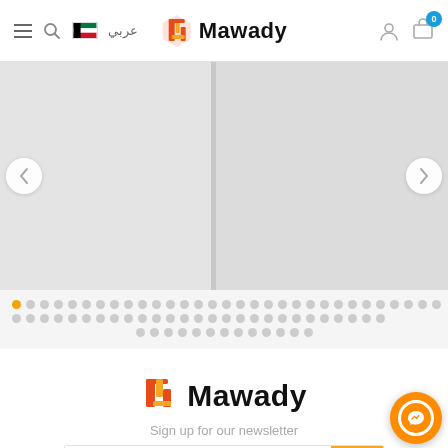Mawady — navigation header with hamburger menu, search, Kuwait flag, Arabic text, logo, user icon, cart (0)
[Figure (screenshot): Image slider with two panels separated by a divider, left and right arrow navigation buttons, light grey background panels]
[Figure (infographic): Pagination dots — one active orange dot followed by many grey dots arranged in 3 rows indicating slider position]
[Figure (logo): Mawady logo — orange/red geometric M-shaped icon with text 'Mawady' in bold black]
Sign up for our newsletter
[Figure (screenshot): Email input field with placeholder 'Enter your email here...' and orange submit button with envelope icon]
[Figure (other): Orange circular Messenger chat button in bottom right corner]